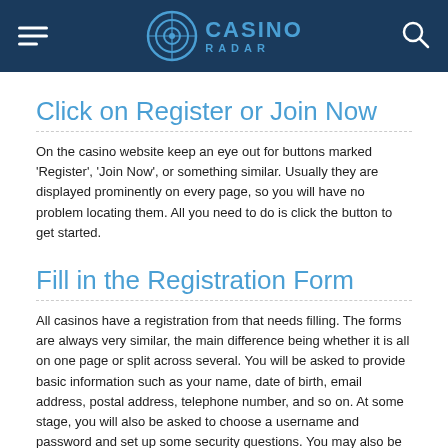CASINO RADAR
Click on Register or Join Now
On the casino website keep an eye out for buttons marked 'Register', 'Join Now', or something similar. Usually they are displayed prominently on every page, so you will have no problem locating them. All you need to do is click the button to get started.
Fill in the Registration Form
All casinos have a registration from that needs filling. The forms are always very similar, the main difference being whether it is all on one page or split across several. You will be asked to provide basic information such as your name, date of birth, email address, postal address, telephone number, and so on. At some stage, you will also be asked to choose a username and password and set up some security questions. You may also be asked if you